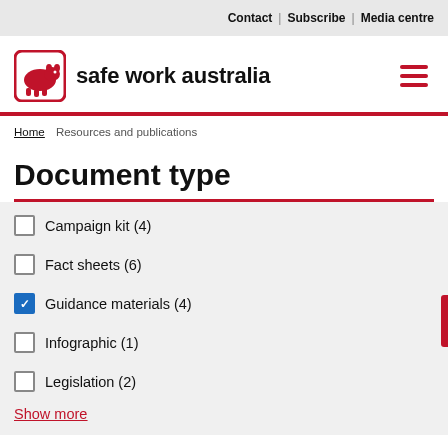Contact | Subscribe | Media centre
[Figure (logo): Safe Work Australia logo with wombat icon and text 'safe work australia']
Home > Resources and publications
Document type
Campaign kit (4)
Fact sheets (6)
Guidance materials (4) [checked]
Infographic (1)
Legislation (2)
Show more